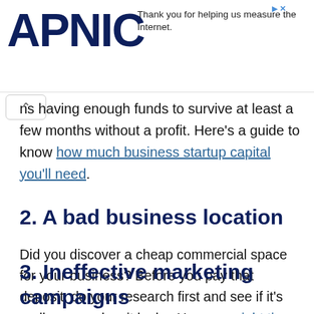APNIC — Thank you for helping us measure the Internet.
ns having enough funds to survive at least a few months without a profit. Here's a guide to know how much business startup capital you'll need.
2. A bad business location
Did you discover a cheap commercial space for your business? Before you pay that deposit, do your research first and see if it's really as good as it looks. Here are eight tips to finding the right business location.
3. Ineffective marketing campaigns